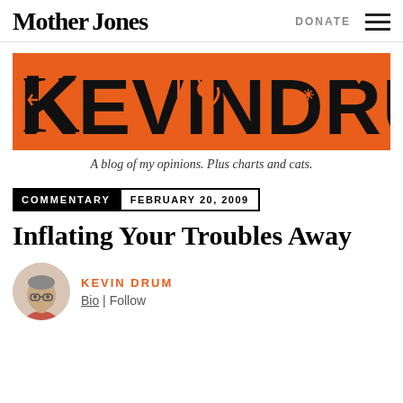Mother Jones  DONATE
[Figure (logo): Kevin Drum blog banner — orange background with large stylized black lettering spelling KEVINDRUM with decorative icon-filled letters]
A blog of my opinions. Plus charts and cats.
COMMENTARY  FEBRUARY 20, 2009
Inflating Your Troubles Away
KEVIN DRUM
Bio | Follow